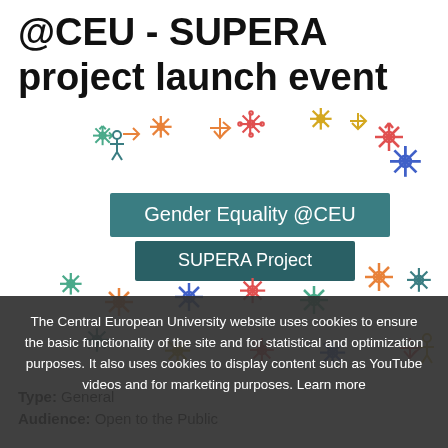@CEU - SUPERA project launch event
[Figure (illustration): Colorful decorative snowflake/person icons scattered across the image area, with two overlaid teal/dark teal banner labels reading 'Gender Equality @CEU' and 'SUPERA Project']
Type: General
Audience: Open to the Public
The Central European University website uses cookies to ensure the basic functionality of the site and for statistical and optimization purposes. It also uses cookies to display content such as YouTube videos and for marketing purposes. Learn more